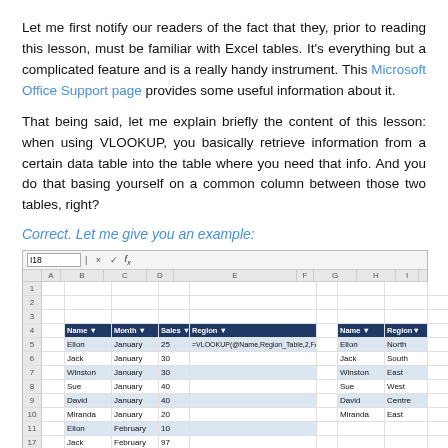Let me first notify our readers of the fact that they, prior to reading this lesson, must be familiar with Excel tables. It's everything but a complicated feature and is a really handy instrument. This Microsoft Office Support page provides some useful information about it.
That being said, let me explain briefly the content of this lesson: when using VLOOKUP, you basically retrieve information from a certain data table into the table where you need that info. And you do that basing yourself on a common column between those two tables, right?
Correct. Let me give you an example:
[Figure (screenshot): Excel spreadsheet screenshot showing two tables. Left table (columns A-E) has headers Name, Month, Sales, Region with data for Ellon/Jack/Winston/Sue/David/Miranda/Jack/Ellon rows. Row 5 shows a VLOOKUP formula: =VLOOKUP(@Name,Region_Table,2,FALSE). Right table (columns G-H) has Name and Region headers with Ellon=North, Jack=South, Winston=East, Sue=West, David=Centre, Miranda=East.]